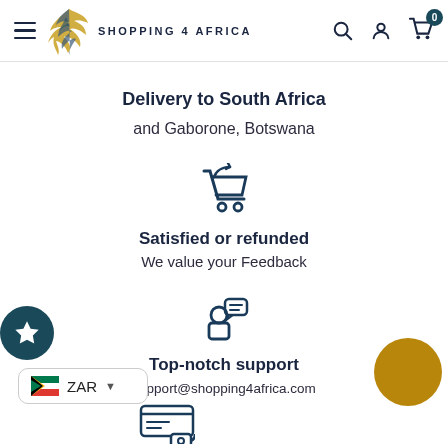Shopping 4 Africa — navigation header with logo, search, account, and cart icons
Delivery to South Africa
and Gaborone, Botswana
[Figure (illustration): Shopping cart with return arrow icon (dark blue outline)]
Satisfied or refunded
We value your Feedback
[Figure (illustration): Person with speech/chat bubble icon (dark blue outline)]
Top-notch support
support@shopping4africa.com
[Figure (illustration): Secure payment / credit card with lock icon (dark blue outline), partially visible at bottom]
[Figure (illustration): Gold/amber colored chat bubble button (floating, bottom right)]
ZAR